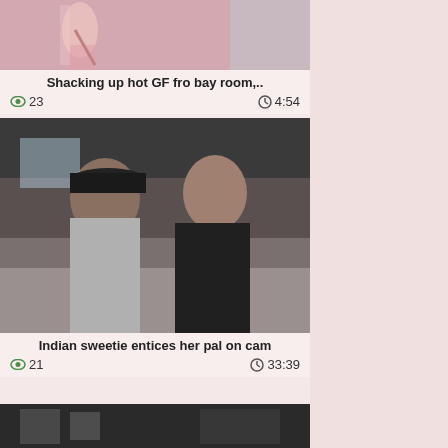[Figure (photo): Thumbnail image for video card 1]
Shacking up hot GF fro bay room,..
👁 23   🕐 4:54
[Figure (photo): Two people sitting on couch, man in black cap and gray shirt, woman in black outfit]
Indian sweetie entices her pal on cam
👁 21   🕐 33:39
[Figure (photo): Partial thumbnail image at bottom of page]